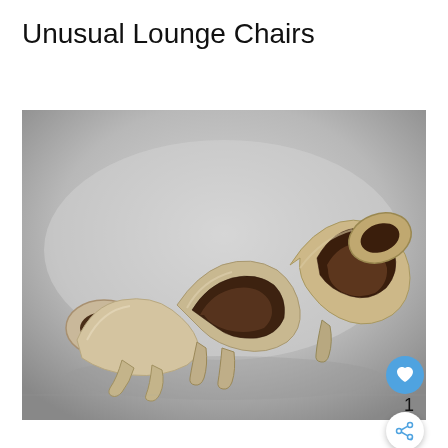Unusual Lounge Chairs
[Figure (photo): A sculptural, sinuous lounge chair made of wood with cream/beige outer surfaces and dark brown inner surfaces, forming a flowing wave-like ribbon structure resting on a white surface against a gray gradient background.]